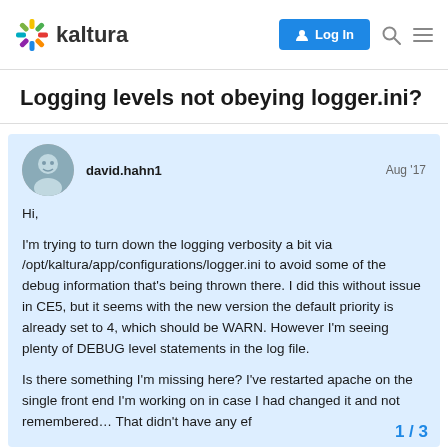kaltura — Log In
Logging levels not obeying logger.ini?
david.hahn1   Aug '17

Hi,

I'm trying to turn down the logging verbosity a bit via /opt/kaltura/app/configurations/logger.ini to avoid some of the debug information that's being thrown there. I did this without issue in CE5, but it seems with the new version the default priority is already set to 4, which should be WARN. However I'm seeing plenty of DEBUG level statements in the log file.

Is there something I'm missing here? I've restarted apache on the single front end I'm working on in case I had changed it and not remembered… That didn't have any ef
1 / 3